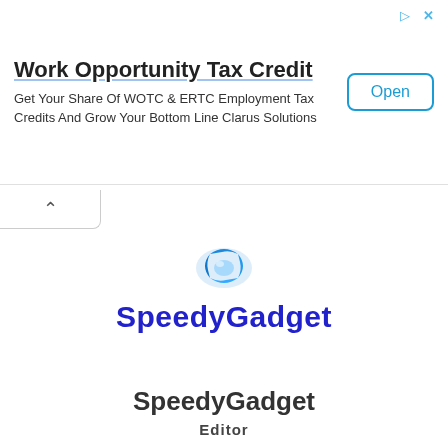Work Opportunity Tax Credit
Get Your Share Of WOTC & ERTC Employment Tax Credits And Grow Your Bottom Line Clarus Solutions
[Figure (logo): SpeedyGadget logo with blue swoosh globe icon and blue bold text]
SpeedyGadget
Editor
See author's posts